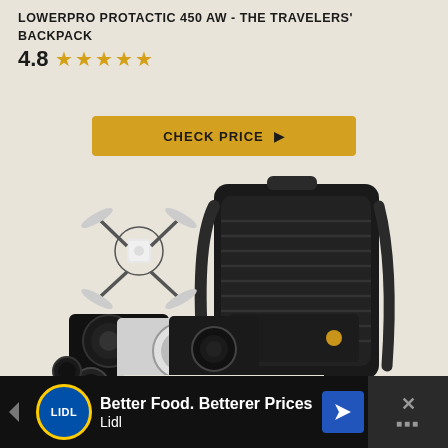LOWERPRO PROTACTIC 450 AW - THE TRAVELERS' BACKPACK
4.8 ★★★★★
CHECK PRICE ▶
[Figure (photo): Lowepro ProTactic 450 AW camera backpack shown with cameras, lenses, and a drone in front of it]
[Figure (photo): Rear view of the Lowepro ProTactic 450 AW backpack with camera inside open compartment]
Better Food. Betterer Prices Lidl